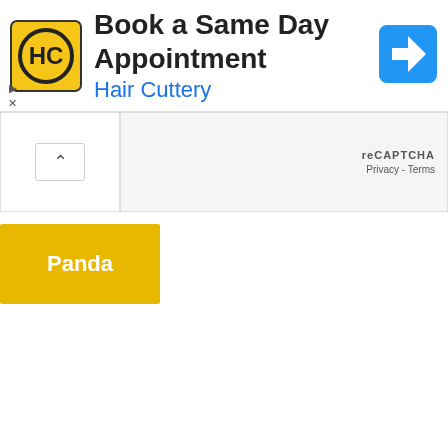[Figure (screenshot): Advertisement banner for Hair Cuttery showing HC logo, text 'Book a Same Day Appointment', 'Hair Cuttery', and a blue navigation arrow icon]
reCAPTCHA
Privacy - Terms
Panda